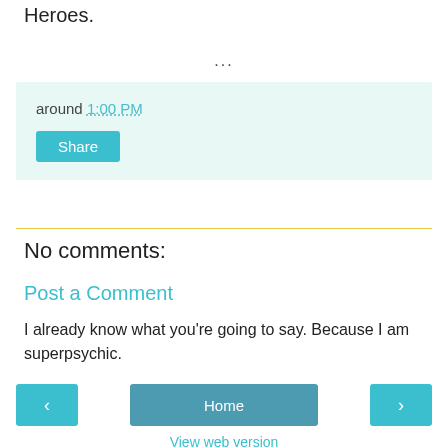Heroes.
...
around 1:00 PM
Share
No comments:
Post a Comment
I already know what you're going to say. Because I am superpsychic.
< Home >
View web version
Powered by Blogger.